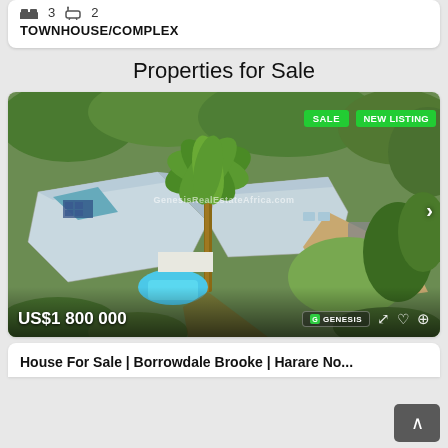3  2
TOWNHOUSE/COMPLEX
Properties for Sale
[Figure (photo): Aerial drone view of a large residential property with white/silver metal roofs, a palm tree in the center, swimming pool, green gardens, and lush trees. Badges show SALE and NEW LISTING. Price overlay: US$1 800 000. Genesis Real Estate Africa watermark and logo visible.]
House For Sale | Borrowdale Brooke | Harare No...